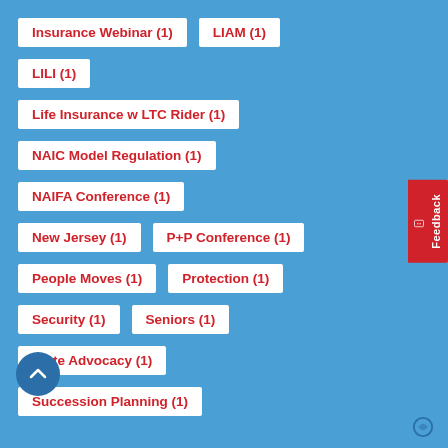Insurance Webinar (1)
LIAM (1)
LILI (1)
Life Insurance w LTC Rider (1)
NAIC Model Regulation (1)
NAIFA Conference (1)
New Jersey (1)
P+P Conference (1)
People Moves (1)
Protection (1)
Security (1)
Seniors (1)
State Advocacy (1)
Succession Planning (1)